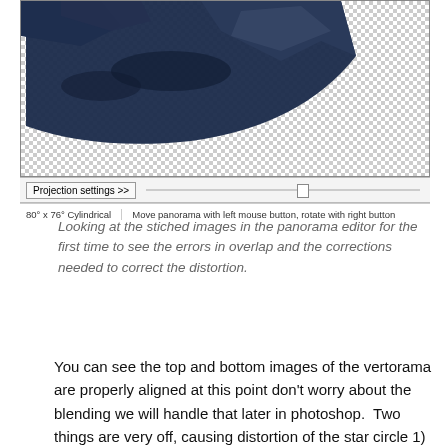[Figure (screenshot): Panorama editor software showing stitched images with checkerboard transparency, a Projection settings button, a slider, and a status bar reading '80° x 76° Cylindrical' and 'Move panorama with left mouse button, rotate with right button']
Looking at the stiched images in the panorama editor for the first time to see the errors in overlap and the corrections needed to correct the distortion.
You can see the top and bottom images of the vertorama are properly aligned at this point don't worry about the blending we will handle that later in photoshop.  Two things are very off, causing distortion of the star circle 1) the projection and the vertical height of the image.  The projection is the way the images are projected on to the inside of a sphere during the alignment.  If you are interested